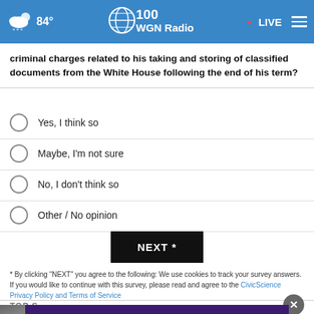84° WGN Radio · LIVE
criminal charges related to his taking and storing of classified documents from the White House following the end of his term?
Yes, I think so
Maybe, I'm not sure
No, I don't think so
Other / No opinion
NEXT *
* By clicking "NEXT" you agree to the following: We use cookies to track your survey answers. If you would like to continue with this survey, please read and agree to the CivicScience Privacy Policy and Terms of Service
TOP S
[Figure (other): Northwestern Medicine advertisement banner: #1 IN ILLINOIS. TOP 10 IN THE NATION. BETTER]